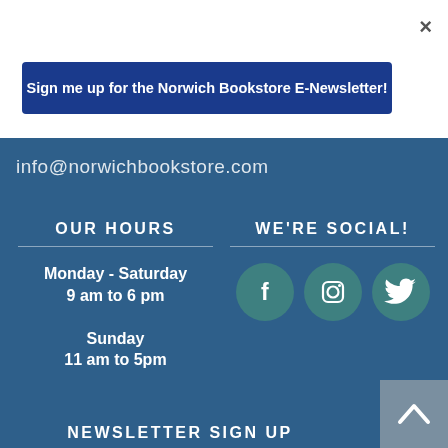×
Sign me up for the Norwich Bookstore E-Newsletter!
info@norwichbookstore.com
OUR HOURS
Monday - Saturday
9 am to 6 pm

Sunday
11 am to 5pm
WE'RE SOCIAL!
[Figure (other): Social media icons: Facebook, Instagram, Twitter in teal circles]
NEWSLETTER SIGN UP